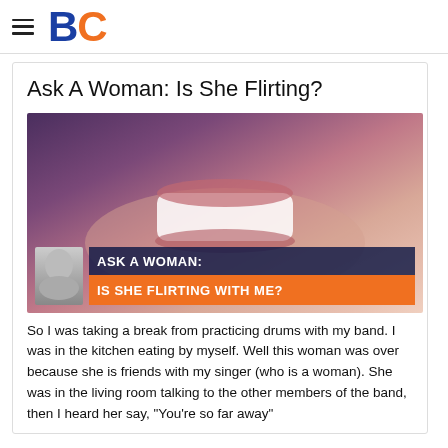BC
Ask A Woman: Is She Flirting?
[Figure (photo): Close-up photo of a woman smiling showing white teeth, with an overlay text banner reading 'ASK A WOMAN: IS SHE FLIRTING WITH ME?' on an orange background, and a small black-and-white thumbnail portrait in the lower left.]
So I was taking a break from practicing drums with my band. I was in the kitchen eating by myself. Well this woman was over because she is friends with my singer (who is a woman). She was in the living room talking to the other members of the band, then I heard her say, "You're so far away"